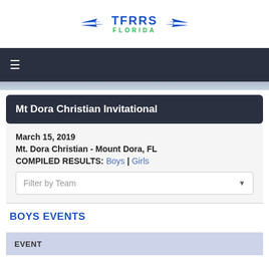[Figure (logo): TFRRS Florida logo with wing graphics and blue/green text]
Mt Dora Christian Invitational
March 15, 2019
Mt. Dora Christian - Mount Dora, FL
COMPILED RESULTS: Boys | Girls
BOYS EVENTS
| EVENT |
| --- |